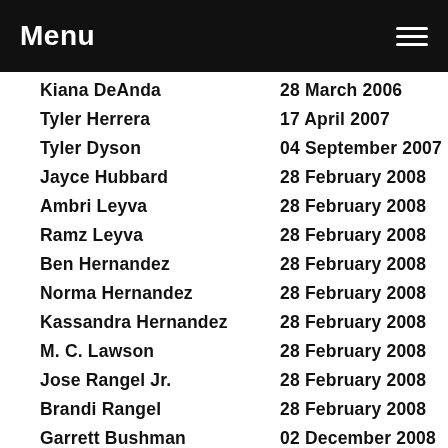Menu
| Name | Date |
| --- | --- |
| Kiana DeAnda | 28 March 2006 |
| Tyler Herrera | 17 April 2007 |
| Tyler Dyson | 04 September 2007 |
| Jayce Hubbard | 28 February 2008 |
| Ambri Leyva | 28 February 2008 |
| Ramz Leyva | 28 February 2008 |
| Ben Hernandez | 28 February 2008 |
| Norma Hernandez | 28 February 2008 |
| Kassandra Hernandez | 28 February 2008 |
| M. C. Lawson | 28 February 2008 |
| Jose Rangel Jr. | 28 February 2008 |
| Brandi Rangel | 28 February 2008 |
| Garrett Bushman | 02 December 2008 |
| Beau Bland | 09 December 2008 |
| Ryan Ramos | 09 December 2008 |
| Joshua Ramos | 09 December 2008 |